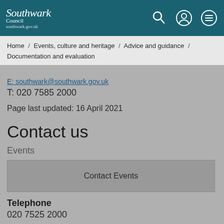[Figure (logo): Southwark Council logo with search, user account, and menu icons on teal header bar]
Home / Events, culture and heritage / Advice and guidance / Documentation and evaluation
E: [email address underlined]
T: 020 7585 2000
Page last updated: 16 April 2021
Contact us
Events
Contact Events
Telephone
020 7525 2000